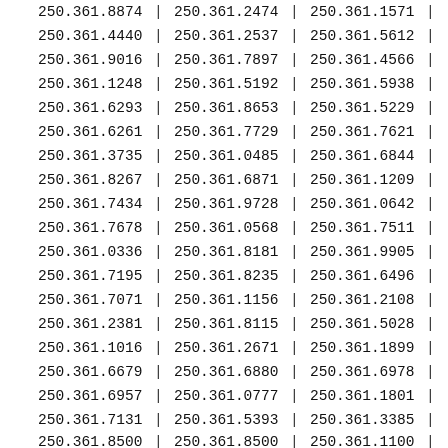| 250.361.8874 | | | 250.361.2474 | | | 250.361.1571 | | |
| 250.361.4440 | | | 250.361.2537 | | | 250.361.5612 | | |
| 250.361.9016 | | | 250.361.7897 | | | 250.361.4566 | | |
| 250.361.1248 | | | 250.361.5192 | | | 250.361.5938 | | |
| 250.361.6293 | | | 250.361.8653 | | | 250.361.5229 | | |
| 250.361.6261 | | | 250.361.7729 | | | 250.361.7621 | | |
| 250.361.3735 | | | 250.361.0485 | | | 250.361.6844 | | |
| 250.361.8267 | | | 250.361.6871 | | | 250.361.1209 | | |
| 250.361.7434 | | | 250.361.9728 | | | 250.361.0642 | | |
| 250.361.7678 | | | 250.361.0568 | | | 250.361.7511 | | |
| 250.361.0336 | | | 250.361.8181 | | | 250.361.9905 | | |
| 250.361.7195 | | | 250.361.8235 | | | 250.361.6496 | | |
| 250.361.7071 | | | 250.361.1156 | | | 250.361.2108 | | |
| 250.361.2381 | | | 250.361.8115 | | | 250.361.5028 | | |
| 250.361.1016 | | | 250.361.2671 | | | 250.361.1899 | | |
| 250.361.6679 | | | 250.361.6880 | | | 250.361.6978 | | |
| 250.361.6957 | | | 250.361.0777 | | | 250.361.1801 | | |
| 250.361.7131 | | | 250.361.5393 | | | 250.361.3385 | | |
| 250.361.8500 | | | 250.361.8500 | | | 250.361.1100 | | |